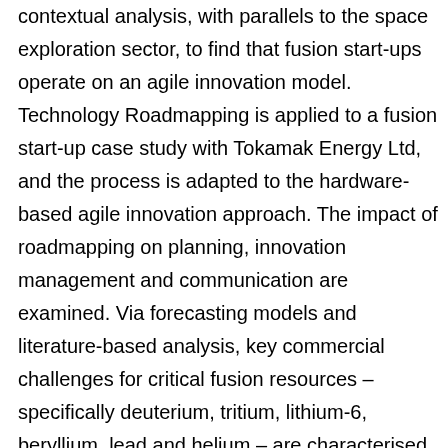contextual analysis, with parallels to the space exploration sector, to find that fusion start-ups operate on an agile innovation model. Technology Roadmapping is applied to a fusion start-up case study with Tokamak Energy Ltd, and the process is adapted to the hardware-based agile innovation approach. The impact of roadmapping on planning, innovation management and communication are examined. Via forecasting models and literature-based analysis, key commercial challenges for critical fusion resources – specifically deuterium, tritium, lithium-6, beryllium, lead and helium – are characterised. A new innovation space for commercial tritium breeding blankets is identified. In conclusion, this thesis characterises a paradigm shift in fusion commercialisation. It provides a framework for the innovation